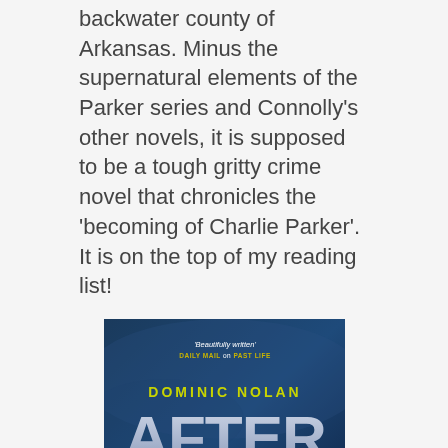backwater county of Arkansas. Minus the supernatural elements of the Parker series and Connolly's other novels, it is supposed to be a tough gritty crime novel that chronicles the 'becoming of Charlie Parker'. It is on the top of my reading list!
[Figure (illustration): Book cover of 'After Dark' by Dominic Nolan. Dark blue background with large white text 'AFTER DARK' and author name in yellow-green. Tagline 'Beautifully written' DAILY MAIL on PAST LIFE at top in small white/yellow text.]